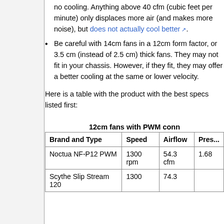no cooling. Anything above 40 cfm (cubic feet per minute) only displaces more air (and makes more noise), but does not actually cool better ↗.
Be careful with 14cm fans in a 12cm form factor, or 3.5 cm (instead of 2.5 cm) thick fans. They may not fit in your chassis. However, if they fit, they may offer a better cooling at the same or lower velocity.
Here is a table with the product with the best specs listed first:
| Brand and Type | Speed | Airflow | Pres... |
| --- | --- | --- | --- |
| Noctua NF-P12 PWM | 1300 rpm | 54.3 cfm | 1.68 |
| Scythe Slip Stream 120 | 1300 | 74.3 |  |